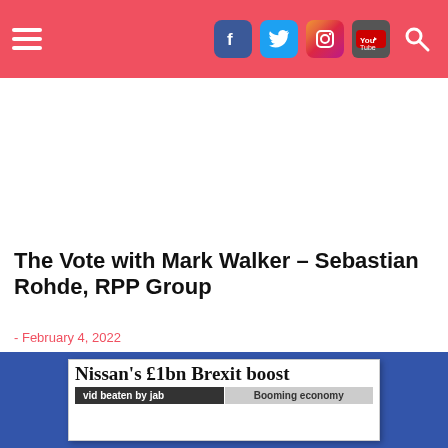Navigation header with hamburger menu and social icons (Facebook, Twitter, Instagram, YouTube, Search)
The Vote with Mark Walker – Sebastian Rohde, RPP Group
- February 4, 2022
Latest TV's Mark Walker speaks to Sebastian Rohde, Founder and Senior Advisor at RPP Group,...
[Figure (screenshot): Newspaper clipping on blue background showing headline 'Nissan's £1bn Brexit boost' with subheadlines 'vid beaten by jab' and 'Booming economy']